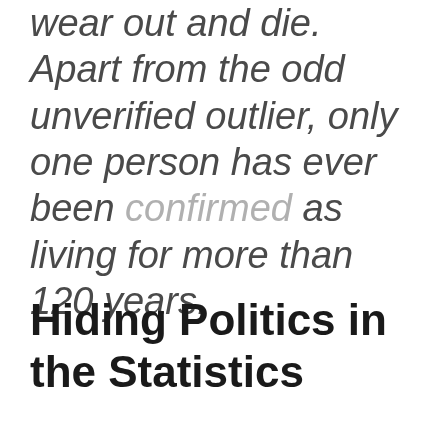wear out and die. Apart from the odd unverified outlier, only one person has ever been confirmed as living for more than 120 years.
Hiding Politics in the Statistics
...